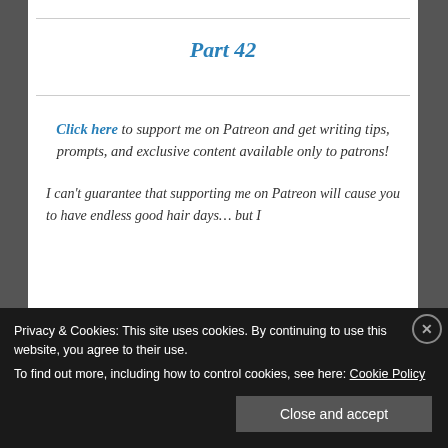Part 42
Click here to support me on Patreon and get writing tips, prompts, and exclusive content available only to patrons!
I can't guarantee that supporting me on Patreon will cause you to have endless good hair days… but I
Privacy & Cookies: This site uses cookies. By continuing to use this website, you agree to their use.
To find out more, including how to control cookies, see here: Cookie Policy
Close and accept